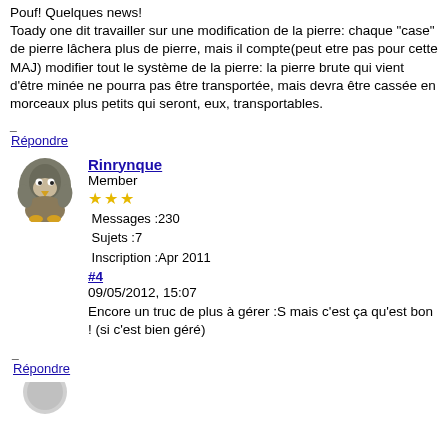Pouf! Quelques news!
Toady one dit travailler sur une modification de la pierre: chaque "case" de pierre lâchera plus de pierre, mais il compte(peut etre pas pour cette MAJ) modifier tout le système de la pierre: la pierre brute qui vient d'être minée ne pourra pas être transportée, mais devra être cassée en morceaux plus petits qui seront, eux, transportables.
_ Répondre
[Figure (illustration): Forum avatar showing a cartoon penguin/bird character]
Rinrynque
Member
★★★
Messages :230
Sujets :7
Inscription :Apr 2011
#4
09/05/2012, 15:07
Encore un truc de plus à gérer :S mais c'est ça qu'est bon ! (si c'est bien géré)
_ Répondre